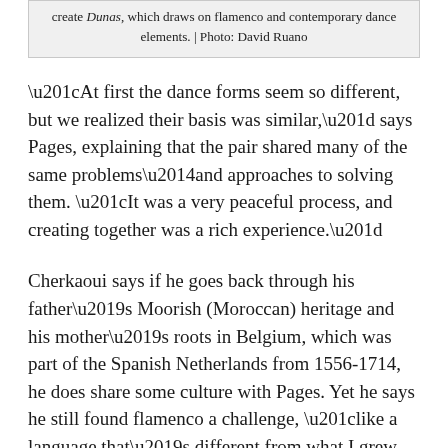create Dunas, which draws on flamenco and contemporary dance elements. | Photo: David Ruano
“At first the dance forms seem so different, but we realized their basis was similar,” says Pages, explaining that the pair shared many of the same problems—and approaches to solving them. “It was a very peaceful process, and creating together was a rich experience.”
Cherkaoui says if he goes back through his father’s Moorish (Moroccan) heritage and his mother’s roots in Belgium, which was part of the Spanish Netherlands from 1556-1714, he does share some culture with Pages. Yet he says he still found flamenco a challenge, “like a language that’s different from what I grew up with.